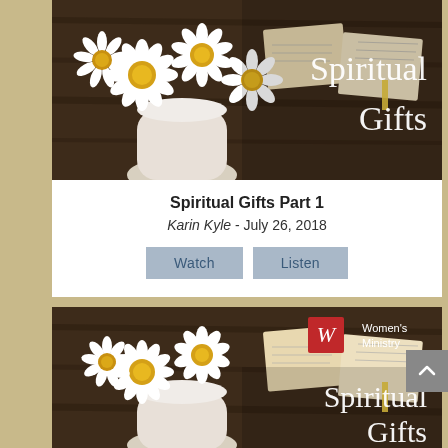[Figure (photo): Photo of white daisy flowers in a white vase with an open Bible in the background, with text overlay reading 'Spiritual Gifts' in white serif font]
Spiritual Gifts Part 1
Karin Kyle - July 26, 2018
[Figure (photo): Same photo of white daisy flowers in a white vase with an open Bible in background, with Women's Ministry logo in top-right corner and 'Spiritual Gifts' text overlay in white serif font]